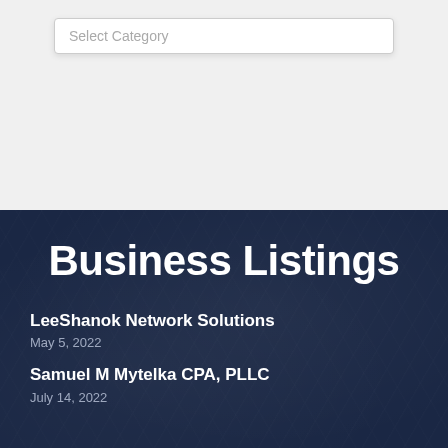[Figure (screenshot): Search/filter UI element with a dropdown labeled 'Select Category' on a light gray background]
Business Listings
LeeShanok Network Solutions
May 5, 2022
Samuel M Mytelka CPA, PLLC
July 14, 2022